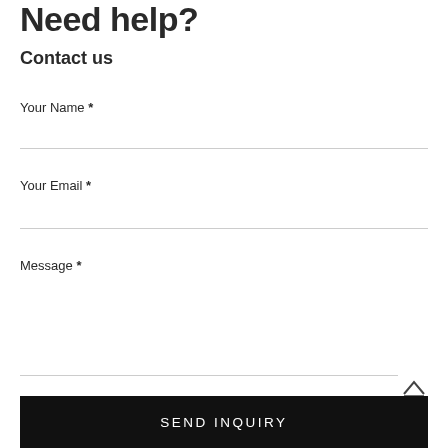Need help?
Contact us
Your Name *
Your Email *
Message *
SEND INQUIRY